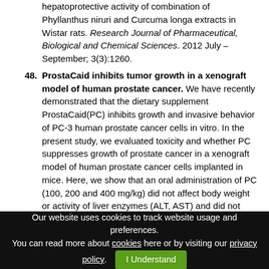hepatoprotective activity of combination of Phyllanthus niruri and Curcuma longa extracts in Wistar rats. Research Journal of Pharmaceutical, Biological and Chemical Sciences. 2012 July – September; 3(3):1260.
48. ProstaCaid inhibits tumor growth in a xenograft model of human prostate cancer. We have recently demonstrated that the dietary supplement ProstaCaid(PC) inhibits growth and invasive behavior of PC-3 human prostate cancer cells in vitro. In the present study, we evaluated toxicity and whether PC suppresses growth of prostate cancer in a xenograft model of human prostate cancer cells implanted in mice. Here, we show that an oral administration of PC (100, 200 and 400 mg/kg) did not affect body weight or activity of liver enzymes (ALT, AST) and did not show any sign of toxicity in liver, spleen, kidney, lung and heart tissues in mice. In addition, PC treatment resulted
Our website uses cookies to track website usage and preferences. You can read more about cookies here or by visiting our privacy policy. I Understand